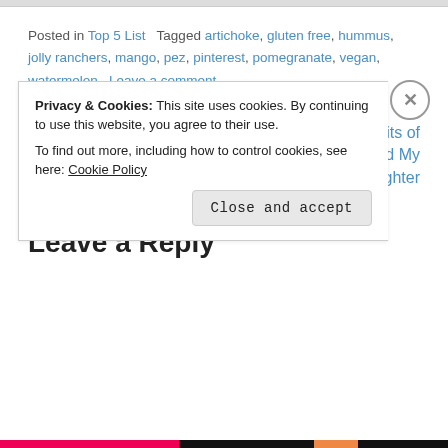Posted in Top 5 List   Tagged artichoke, gluten free, hummus, jolly ranchers, mango, pez, pinterest, pomegranate, vegan, watermelon   Leave a comment
Top Search Terms to Find My Blog
The Top 5 Benefits of Hanging Around My Granddaughter
Leave a Reply
Privacy & Cookies: This site uses cookies. By continuing to use this website, you agree to their use.
To find out more, including how to control cookies, see here: Cookie Policy
Close and accept